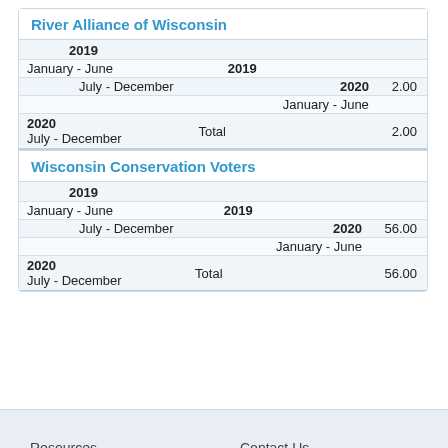River Alliance of Wisconsin
| Period | Year | Amount |
| --- | --- | --- |
| 2019 |  |  |
| January - June | 2019 |  |
| July - December | 2020 | 2.00 |
| January - June |  |  |
| 2020 July - December | Total | 2.00 |
Wisconsin Conservation Voters
| Period | Year | Amount |
| --- | --- | --- |
| 2019 |  |  |
| January - June | 2019 |  |
| July - December | 2020 | 56.00 |
| January - June |  |  |
| 2020 July - December | Total | 56.00 |
Resources    Contact Us